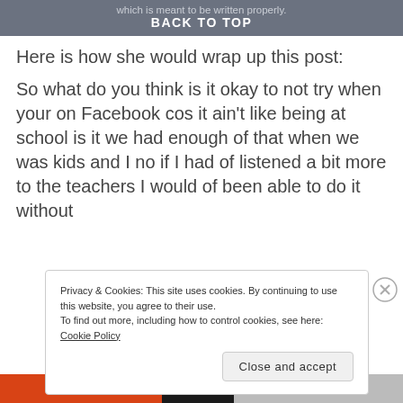which is meant to be written properly. BACK TO TOP
Here is how she would wrap up this post:
So what do you think is it okay to not try when your on Facebook cos it ain't like being at school is it we had enough of that when we was kids and I no if I had of listened a bit more to the teachers I would of been able to do it without
Privacy & Cookies: This site uses cookies. By continuing to use this website, you agree to their use. To find out more, including how to control cookies, see here: Cookie Policy
Close and accept